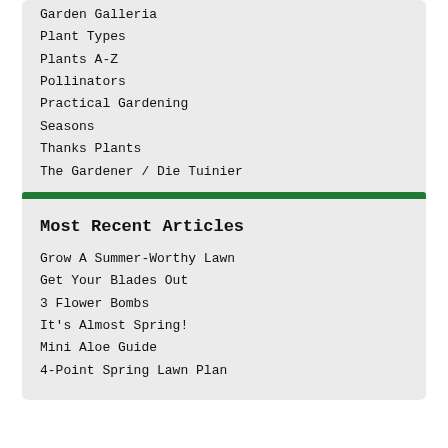Garden Galleria
Plant Types
Plants A-Z
Pollinators
Practical Gardening
Seasons
Thanks Plants
The Gardener / Die Tuinier
Most Recent Articles
Grow A Summer-Worthy Lawn
Get Your Blades Out
3 Flower Bombs
It's Almost Spring!
Mini Aloe Guide
4-Point Spring Lawn Plan